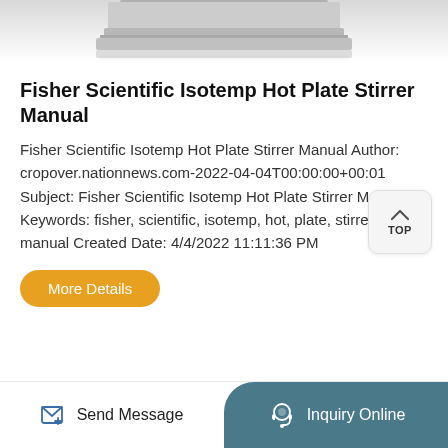[Figure (photo): Partial view of a Fisher Scientific Isotemp Hot Plate Stirrer device, showing bottom portion of the device against white background]
Fisher Scientific Isotemp Hot Plate Stirrer Manual
Fisher Scientific Isotemp Hot Plate Stirrer Manual Author: cropover.nationnews.com-2022-04-04T00:00:00+00:01 Subject: Fisher Scientific Isotemp Hot Plate Stirrer Manual Keywords: fisher, scientific, isotemp, hot, plate, stirrer, manual Created Date: 4/4/2022 11:11:36 PM
More Details
Send Message  Inquiry Online